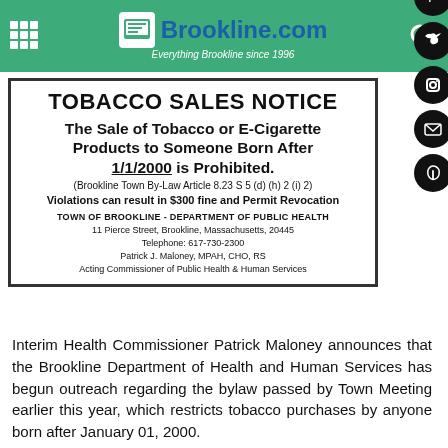Brookline.com — Everything Brookline since 1996
TOBACCO SALES NOTICE
The Sale of Tobacco or E-Cigarette Products to Someone Born After 1/1/2000 is Prohibited.
(Brookline Town By-Law Article 8.23 S 5 (d) (h) 2 (i) 2)
Violations can result in $300 fine and Permit Revocation
TOWN OF BROOKLINE - DEPARTMENT OF PUBLIC HEALTH
11 Pierce Street, Brookline, Massachusetts, 20445
Telephone: 617-730-2300
Patrick J. Maloney, MPAH, CHO, RS
Acting Commissioner of Public Health & Human Services
Interim Health Commissioner Patrick Maloney announces that the Brookline Department of Health and Human Services has begun outreach regarding the bylaw passed by Town Meeting earlier this year, which restricts tobacco purchases by anyone born after January 01, 2000.